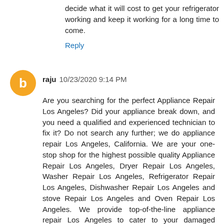decide what it will cost to get your refrigerator working and keep it working for a long time to come.
Reply
raju  10/23/2020 9:14 PM
Are you searching for the perfect Appliance Repair Los Angeles? Did your appliance break down, and you need a qualified and experienced technician to fix it? Do not search any further; we do appliance repair Los Angeles, California. We are your one-stop shop for the highest possible quality Appliance Repair Los Angeles, Dryer Repair Los Angeles, Washer Repair Los Angeles, Refrigerator Repair Los Angeles, Dishwasher Repair Los Angeles and stove Repair Los Angeles and Oven Repair Los Angeles. We provide top-of-the-line appliance repair Los Angeles to cater to your damaged appliance as soon as possible. Our priority is the satisfaction of our clients. We draw from our more than 15 years of experience and updated technical knowledge to offer the best appliance repair Los Angeles, Dryer Repair Los Angeles, washer repair Los Angeles, refrigerator